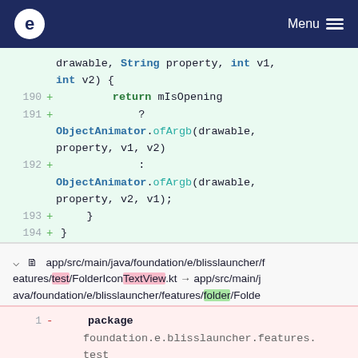e  Menu
[Figure (screenshot): Code diff block showing lines 190-194 with green background. Lines show Java/Kotlin code: return mIsOpening ? ObjectAnimator.ofArgb(drawable, property, v1, v2) : ObjectAnimator.ofArgb(drawable, property, v2, v1); closing braces.]
app/src/main/java/foundation/e/blisslauncher/features/test/FolderIconTextView.kt → app/src/main/java/foundation/e/blisslauncher/features/folder/FolderIcon.kt
[Figure (screenshot): Code diff block showing line 1 with red background. Line shows: - package foundation.e.blisslauncher.features.test]